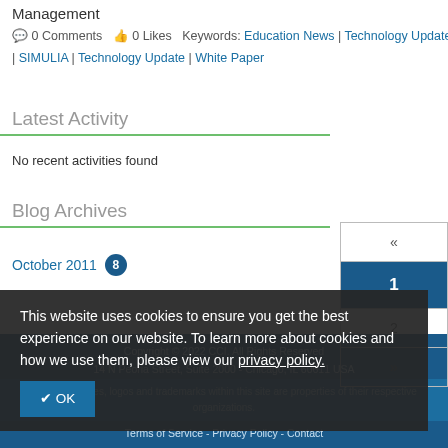Management
0 Comments  0 Likes  Keywords: Education News | Technology Update | SIMULIA | Technology Update | White Paper
Latest Activity
No recent activities found
Blog Archives
October 2011
This website uses cookies to ensure you get the best experience on our website. To learn more about cookies and how we use them, please view our privacy policy.
✔ OK
Copyright © 2022 CCI. All Rights Reserved
14 N Peoria Street, Suite 2000 - Chicago, IL 60611 USA
All material, files, logos and trademarks within this site are properties of their respective organizations.
Terms of Service - Privacy Policy - Contact